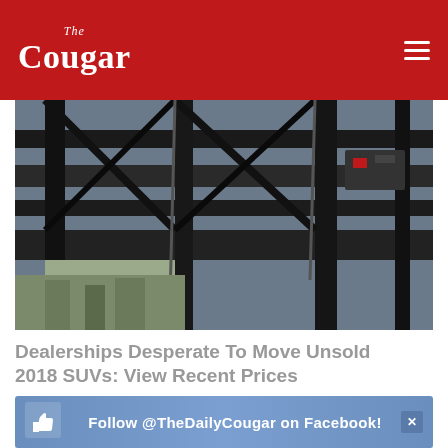The Cougar
[Figure (photo): Industrial crane or heavy machinery photo seen from below, dark metallic structures against a sky background with construction/urban scenery]
Dealerships Desperate To Move Unsold 2018 SUVs: View Recent Prices
DidUKnow
[Figure (photo): Young woman with long dark hair smiling and eating a salad or green food, wearing a white top, light background]
Follow @TheDailyCougar on Facebook!